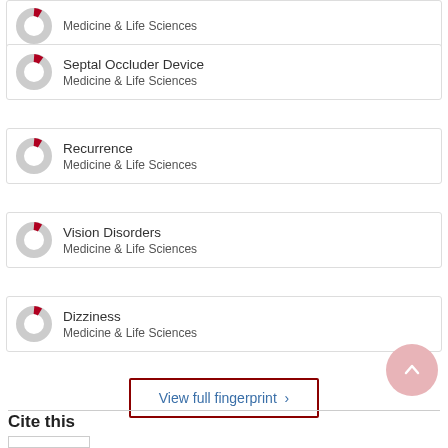Medicine & Life Sciences
Septal Occluder Device
Medicine & Life Sciences
Recurrence
Medicine & Life Sciences
Vision Disorders
Medicine & Life Sciences
Dizziness
Medicine & Life Sciences
View full fingerprint >
Cite this